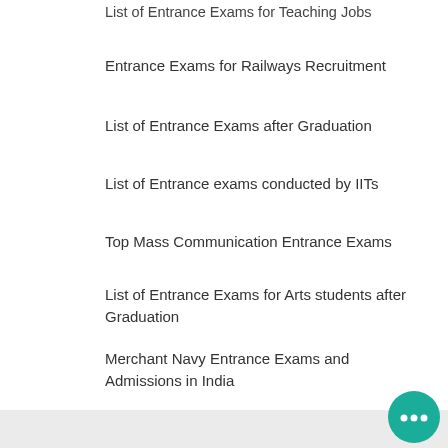List of Entrance Exams for Teaching Jobs
Entrance Exams for Railways Recruitment
List of Entrance Exams after Graduation
List of Entrance exams conducted by IITs
Top Mass Communication Entrance Exams
List of Entrance Exams for Arts students after Graduation
Merchant Navy Entrance Exams and Admissions in India
Entrance Exam Dates 2022
Indian Army Entrance Exams 2022